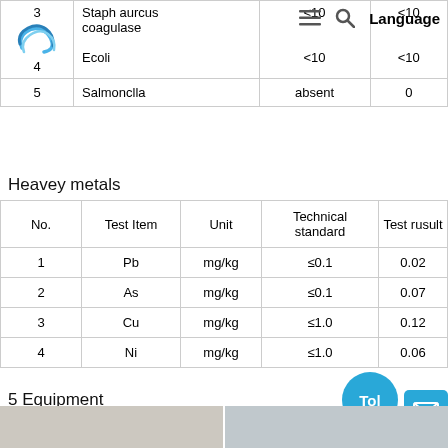| No. | Test Item | Technical standard | Test rusult |
| --- | --- | --- | --- |
| 3 | Staph aurcus coagulase | <10 | <10 |
| 4 | Ecoli | <10 | <10 |
| 5 | Salmonclla | absent | 0 |
Heavey metals
| No. | Test Item | Unit | Technical standard | Test rusult |
| --- | --- | --- | --- | --- |
| 1 | Pb | mg/kg | ≤0.1 | 0.02 |
| 2 | As | mg/kg | ≤0.1 | 0.07 |
| 3 | Cu | mg/kg | ≤1.0 | 0.12 |
| 4 | Ni | mg/kg | ≤1.0 | 0.06 |
5 Equipment
[Figure (photo): Two photos of laboratory or manufacturing equipment]